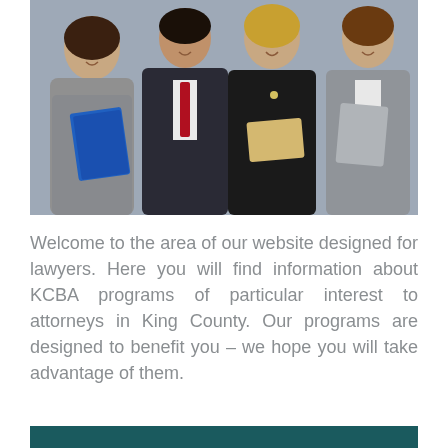[Figure (photo): Group photo of four legal professionals in business attire. From left: a woman in a gray suit holding a blue folder, a man in a dark suit with a red tie, a woman in black robes holding documents, and a woman in a gray jacket. Professional office or courthouse setting.]
Welcome to the area of our website designed for lawyers. Here you will find information about KCBA programs of particular interest to attorneys in King County. Our programs are designed to benefit you – we hope you will take advantage of them.